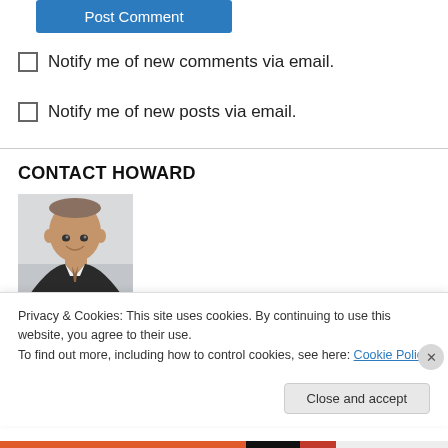Post Comment
Notify me of new comments via email.
Notify me of new posts via email.
CONTACT HOWARD
[Figure (photo): Headshot photo of a middle-aged man in a dark suit with a tie, smiling.]
Privacy & Cookies: This site uses cookies. By continuing to use this website, you agree to their use.
To find out more, including how to control cookies, see here: Cookie Policy
Close and accept